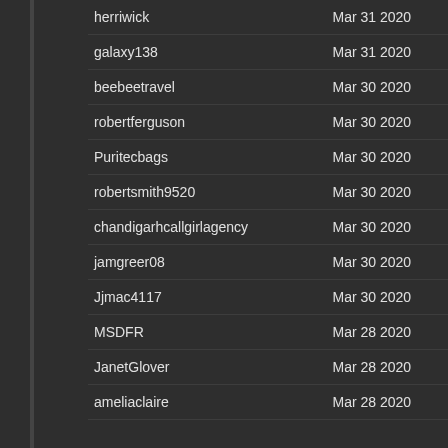| Username | Date |
| --- | --- |
| herriwick | Mar 31 2020 |
| galaxy138 | Mar 31 2020 |
| beebeetravel | Mar 30 2020 |
| robertferguson | Mar 30 2020 |
| Puritecbags | Mar 30 2020 |
| robertsmith9520 | Mar 30 2020 |
| chandigarhcallgirlagency | Mar 30 2020 |
| jamgreer08 | Mar 30 2020 |
| Jjmac4117 | Mar 30 2020 |
| MSDFR | Mar 28 2020 |
| JanetGlover | Mar 28 2020 |
| ameliaclaire | Mar 28 2020 |